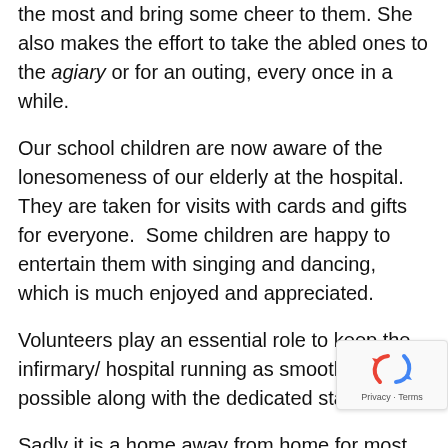the most and bring some cheer to them. She also makes the effort to take the abled ones to the agiary or for an outing, every once in a while.
Our school children are now aware of the lonesomeness of our elderly at the hospital. They are taken for visits with cards and gifts for everyone.  Some children are happy to entertain them with singing and dancing, which is much enjoyed and appreciated.
Volunteers play an essential role to keep the infirmary/ hospital running as smoothly as possible along with the dedicated staff.
Sadly it is a home away from home for most. We strive to do more for each one of them and give them all a better quality of life.
May Ahura Mazda bless us and guide us to